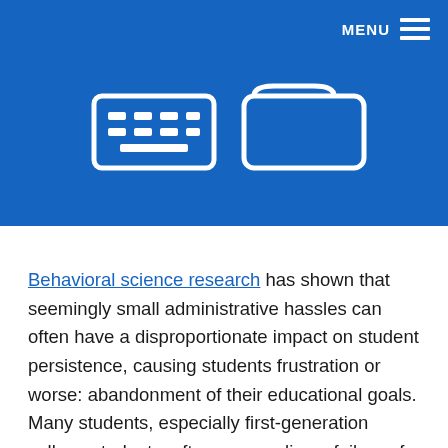MENU
[Figure (illustration): Blue banner with keyboard icon and browser/tab icon rendered as white outlines on blue background]
Behavioral science research has shown that seemingly small administrative hassles can often have a disproportionate impact on student persistence, causing students frustration or worse: abandonment of their educational goals. Many students, especially first-generation college students, often personalize a failure of an inefficient system and wrongly assume college just “isn’t for